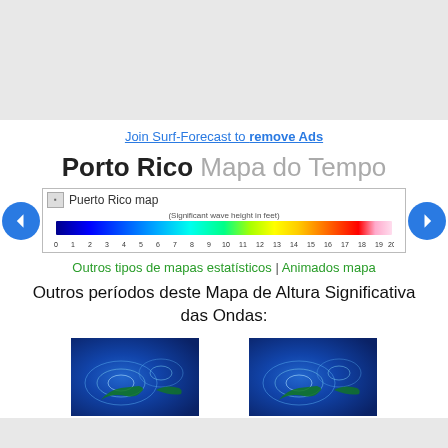[Figure (other): Top gray banner/header area]
Join Surf-Forecast to remove Ads
Porto Rico Mapa do Tempo
[Figure (map): Puerto Rico wave height map with color bar legend showing significant wave height in feet from 0 to 20, with navigation arrows on left and right]
Outros tipos de mapas estatísticos | Animados mapa
Outros períodos deste Mapa de Altura Significativa das Ondas:
[Figure (map): Thumbnail map of Puerto Rico wave height (left)]
[Figure (map): Thumbnail map of Puerto Rico wave height (right)]